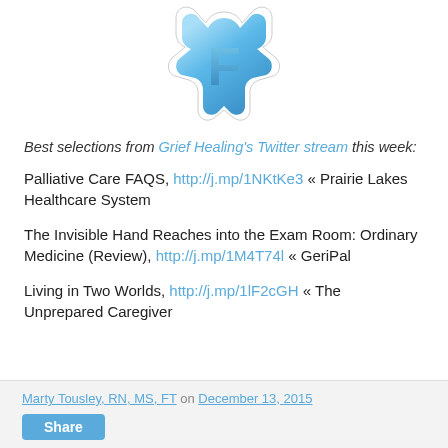[Figure (logo): Twitter Favstar app logo — a blue star-shaped icon with a stylized F/R letter inside, white border, on white background]
Best selections from Grief Healing's Twitter stream this week:
Palliative Care FAQS, http://j.mp/1NKtKe3 « Prairie Lakes Healthcare System
The Invisible Hand Reaches into the Exam Room: Ordinary Medicine (Review), http://j.mp/1M4T74l « GeriPal
Living in Two Worlds, http://j.mp/1lF2cGH « The Unprepared Caregiver
Marty Tousley, RN, MS, FT on December 13, 2015 | Share